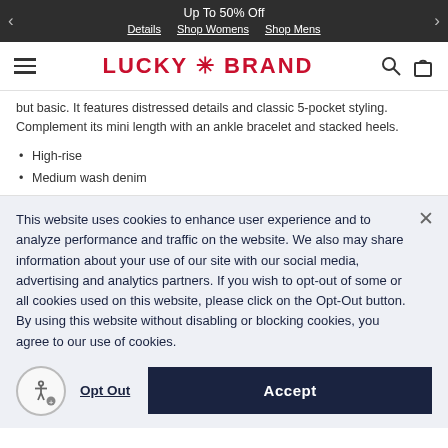Up To 50% Off   Details   Shop Womens   Shop Mens
[Figure (logo): Lucky Brand logo with hamburger menu, search icon, and shopping bag icon]
but basic. It features distressed details and classic 5-pocket styling. Complement its mini length with an ankle bracelet and stacked heels.
High-rise
Medium wash denim
This website uses cookies to enhance user experience and to analyze performance and traffic on the website. We also may share information about your use of our site with our social media, advertising and analytics partners. If you wish to opt-out of some or all cookies used on this website, please click on the Opt-Out button. By using this website without disabling or blocking cookies, you agree to our use of cookies.